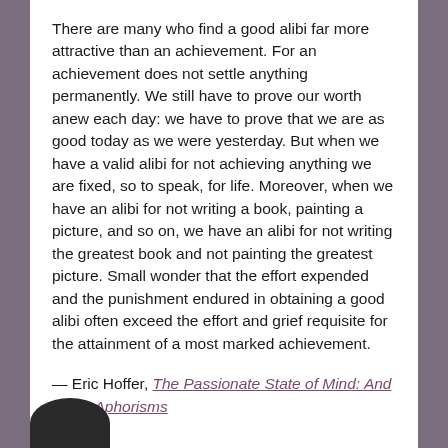There are many who find a good alibi far more attractive than an achievement. For an achievement does not settle anything permanently. We still have to prove our worth anew each day: we have to prove that we are as good today as we were yesterday. But when we have a valid alibi for not achieving anything we are fixed, so to speak, for life. Moreover, when we have an alibi for not writing a book, painting a picture, and so on, we have an alibi for not writing the greatest book and not painting the greatest picture. Small wonder that the effort expended and the punishment endured in obtaining a good alibi often exceed the effort and grief requisite for the attainment of a most marked achievement.
— Eric Hoffer, The Passionate State of Mind: And Other Aphorisms